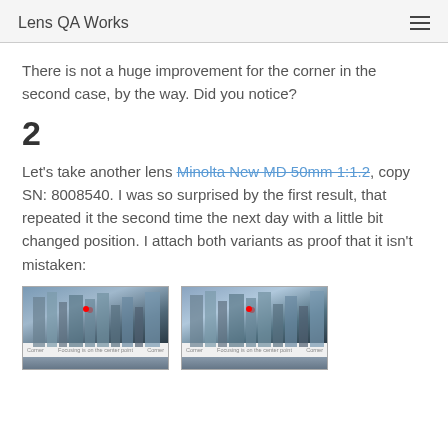Lens QA Works
There is not a huge improvement for the corner in the second case, by the way. Did you notice?
2
Let's take another lens Minolta New MD 50mm 1:1.2, copy SN: 8008540. I was so surprised by the first result, that repeated it the second time the next day with a little bit changed position. I attach both variants as proof that it isn't mistaken:
[Figure (photo): Two side-by-side photos of buildings shot through a lens, each with a red dot marker and labels for Center and Corner regions at the bottom.]